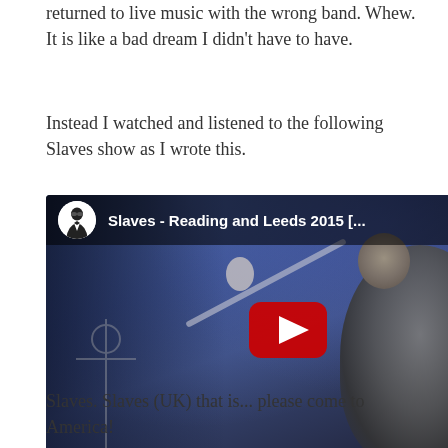returned to live music with the wrong band. Whew. It is like a bad dream I didn't have to have.
Instead I watched and listened to the following Slaves show as I wrote this.
[Figure (screenshot): YouTube video thumbnail for 'Slaves - Reading and Leeds 2015 [...]' showing a live concert performance with a bald guitarist/vocalist at a microphone on a dark stage with blue stage lighting. YouTube play button overlay in center. Channel avatar (figure in tuxedo) shown in top-left with video title bar.]
Slaves. Slaves (UK) that is... please come to America!